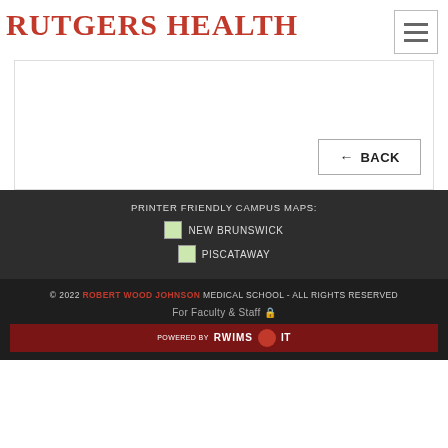Rutgers Health
[Figure (other): Hamburger menu icon (three horizontal lines) in a bordered square box, top right corner]
[Figure (other): Main content area with white background and border, mostly blank, with a BACK button in bottom right]
PRINTER FRIENDLY CAMPUS MAPS:
NEW BRUNSWICK
PISCATAWAY
© 2022 ROBERT WOOD JOHNSON MEDICAL SCHOOL - ALL RIGHTS RESERVED
For Faculty & Staff 🔒
POWERED BY RWIMS IT